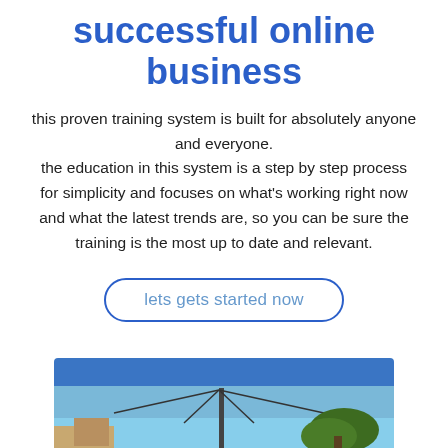successful online business
this proven training system is built for absolutely anyone and everyone. the education in this system is a step by step process for simplicity and focuses on what's working right now and what the latest trends are, so you can be sure the training is the most up to date and relevant.
lets gets started now
[Figure (photo): Photo showing a utility pole with wires against a blue sky, with trees visible on the right side]